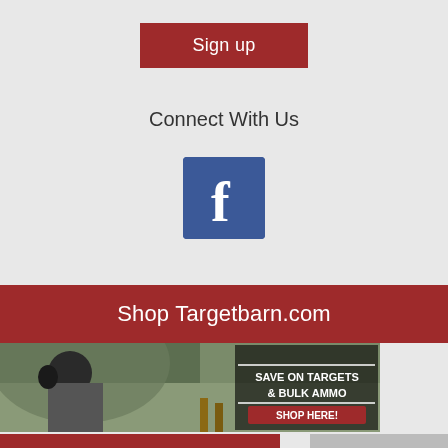Sign up
Connect With Us
[Figure (logo): Facebook logo icon - blue square with white 'f' letter]
Shop Targetbarn.com
[Figure (photo): Woman at shooting range pointing handgun, with overlay text: SAVE ON TARGETS & BULK AMMO and SHOP HERE! button]